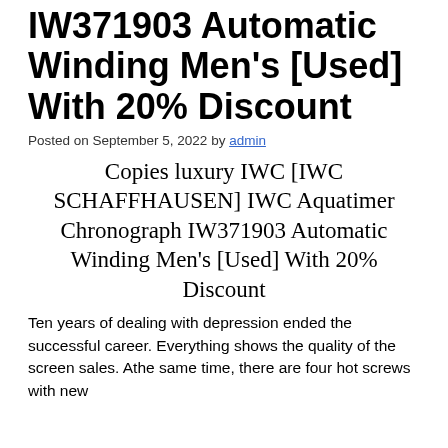IW371903 Automatic Winding Men's [Used] With 20% Discount
Posted on September 5, 2022 by admin
Copies luxury IWC [IWC SCHAFFHAUSEN] IWC Aquatimer Chronograph IW371903 Automatic Winding Men's [Used] With 20% Discount
Ten years of dealing with depression ended the successful career. Everything shows the quality of the screen sales. Athe same time, there are four hot screws with new